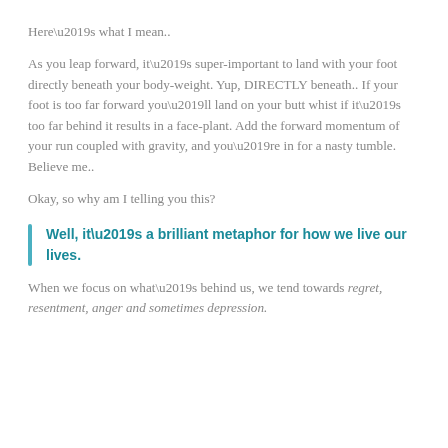Here’s what I mean..
As you leap forward, it’s super-important to land with your foot directly beneath your body-weight. Yup, DIRECTLY beneath.. If your foot is too far forward you’ll land on your butt whist if it’s too far behind it results in a face-plant. Add the forward momentum of your run coupled with gravity, and you’re in for a nasty tumble. Believe me..
Okay, so why am I telling you this?
Well, it’s a brilliant metaphor for how we live our lives.
When we focus on what’s behind us, we tend towards regret, resentment, anger and sometimes depression.